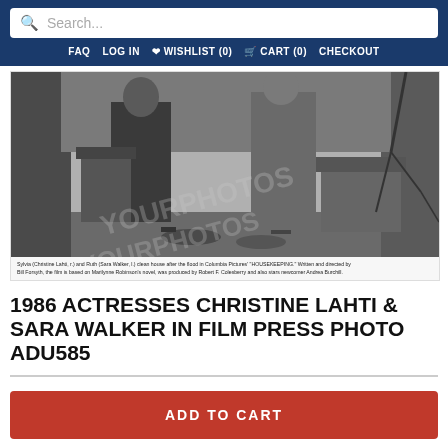Search...
FAQ  LOG IN  ♥ WISHLIST (0)  🛒 CART (0)  CHECKOUT
[Figure (photo): Black and white press photo showing two actresses Christine Lahti and Sara Walker cleaning house after a flood, from Columbia Pictures' 'Housekeeping'. Caption text at bottom describes the scene and credits the film.]
1986 ACTRESSES CHRISTINE LAHTI & SARA WALKER IN FILM PRESS PHOTO ADU585
ADD TO CART